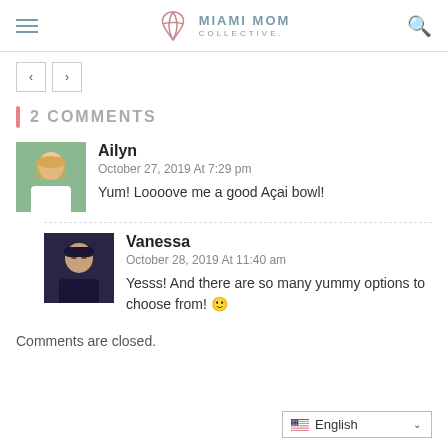MIAMI MOM COLLECTIVE
2 COMMENTS
[Figure (photo): Avatar photo of Ailyn, a woman with blonde hair outdoors]
Ailyn
October 27, 2019 At 7:29 pm
Yum! Loooove me a good Açai bowl!
[Figure (photo): Avatar photo of Vanessa, a woman with dark hair and glasses]
Vanessa
October 28, 2019 At 11:40 am
Yesss! And there are so many yummy options to choose from! 🙂
Comments are closed.